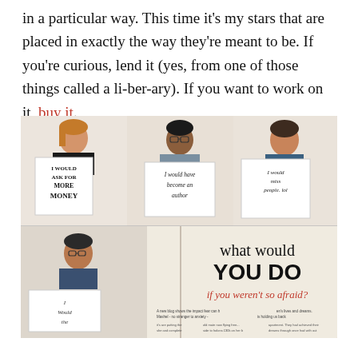in a particular way. This time it's my stars that are placed in exactly the way they're meant to be. If you're curious, lend it (yes, from one of those things called a li-ber-ary). If you want to work on it, buy it.
[Figure (photo): A photograph of an open magazine spread showing multiple people holding signs. Top row: left person holds sign 'I WOULD ASK FOR MORE MONEY', middle person holds sign 'I would have become an author', right person holds sign 'I would miss people. lol'. Bottom row: left person holds partially visible sign starting with 'I Would', right side shows magazine headline 'what would YOU DO if you weren't so afraid?' with body text below.]